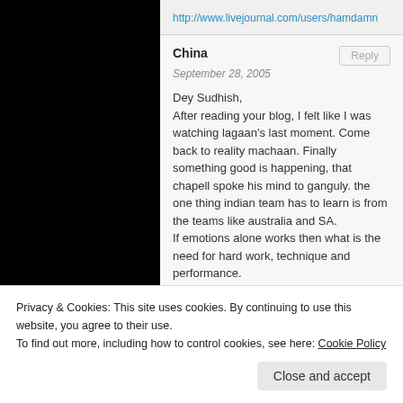http://www.livejournal.com/users/hamdamn
China
September 28, 2005

Dey Sudhish,
After reading your blog, I felt like I was watching lagaan's last moment. Come back to reality machaan. Finally something good is happening, that chapell spoke his mind to ganguly. the one thing indian team has to learn is from the teams like australia and SA.
If emotions alone works then what is the need for hard work, technique and performance.
Privacy & Cookies: This site uses cookies. By continuing to use this website, you agree to their use.
To find out more, including how to control cookies, see here: Cookie Policy